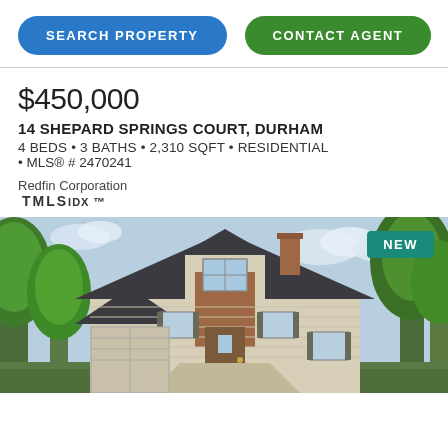SEARCH PROPERTY
CONTACT AGENT
$450,000
14 SHEPARD SPRINGS COURT, DURHAM
4 BEDS • 3 BATHS • 2,310 SQFT • RESIDENTIAL • MLS® # 2470241
Redfin Corporation
TMLS IDX ™
[Figure (photo): Exterior photo of a two-story residential home with brick and siding facade, surrounded by trees, with a NEW badge in the top-right corner.]